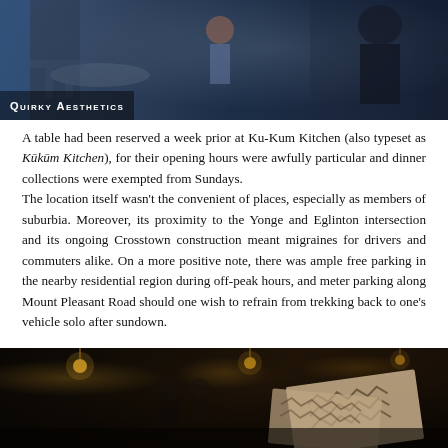[Figure (photo): Interior photo of a restaurant with blue-toned lighting, people dining and staff moving around]
Quirky Aesthetics
A table had been reserved a week prior at Ku-Kum Kitchen (also typeset as Kūkūm Kitchen), for their opening hours were awfully particular and dinner collections were exempted from Sundays.
The location itself wasn't the convenient of places, especially as members of suburbia. Moreover, its proximity to the Yonge and Eglinton intersection and its ongoing Crosstown construction meant migraines for drivers and commuters alike. On a more positive note, there was ample free parking in the nearby residential region during off-peak hours, and meter parking along Mount Pleasant Road should one wish to refrain from trekking back to one's vehicle solo after sundown.
[Figure (photo): Dark restaurant interior with warm amber hanging lights, menus with zigzag pattern visible in foreground]